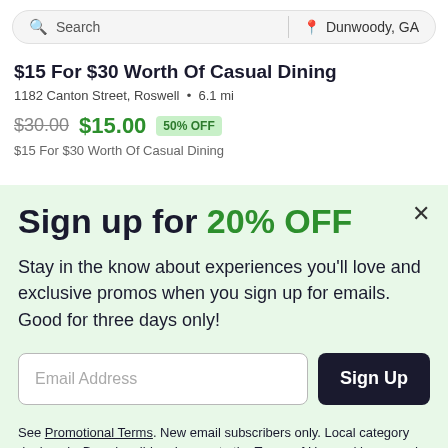Search | Dunwoody, GA
$15 For $30 Worth Of Casual Dining
1182 Canton Street, Roswell • 6.1 mi
$30.00  $15.00  50% OFF
$15 For $30 Worth Of Casual Dining
Sign up for 20% OFF
Stay in the know about experiences you'll love and exclusive promos when you sign up for emails. Good for three days only!
Email Address  Sign Up
See Promotional Terms. New email subscribers only. Local category deals only. By subscribing, I agree to the Terms of Use and have read the Privacy Statement